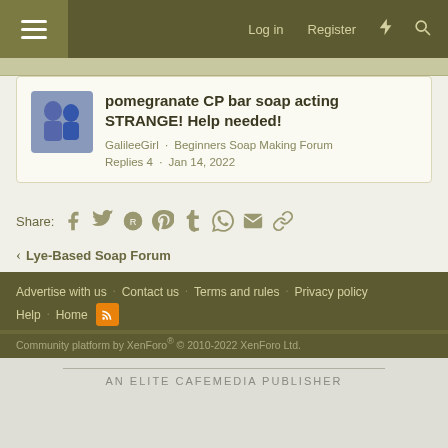Log in · Register
pomegranate CP bar soap acting STRANGE! Help needed!
GalileeGirl · Beginners Soap Making Forum
Replies 4 · Jan 14, 2022
Share:
Lye-Based Soap Forum
Advertise with us · Contact us · Terms and rules · Privacy policy · Help · Home
Community platform by XenForo® © 2010-2022 XenForo Ltd.
AN ELITE CAFEMEDIA PUBLISHER